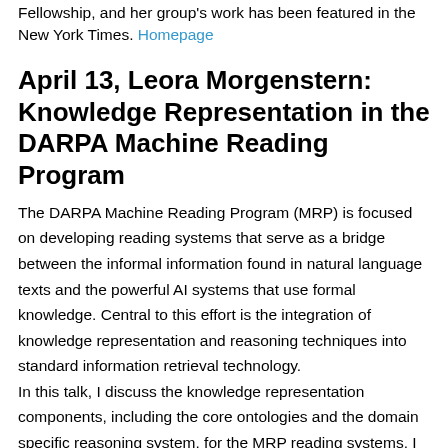Fellowship, and her group's work has been featured in the New York Times. Homepage
April 13, Leora Morgenstern: Knowledge Representation in the DARPA Machine Reading Program
The DARPA Machine Reading Program (MRP) is focused on developing reading systems that serve as a bridge between the informal information found in natural language texts and the powerful AI systems that use formal knowledge. Central to this effort is the integration of knowledge representation and reasoning techniques into standard information retrieval technology.
In this talk, I discuss the knowledge representation components, including the core ontologies and the domain specific reasoning system, for the MRP reading systems. I focus on the spatiotemporal reasoning that serve as the cornerstone for the central challenge of Phase 3 of the Machine Reading Program: building geographical timelines